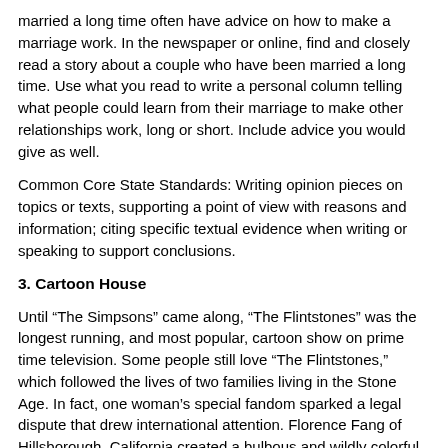married a long time often have advice on how to make a marriage work. In the newspaper or online, find and closely read a story about a couple who have been married a long time. Use what you read to write a personal column telling what people could learn from their marriage to make other relationships work, long or short. Include advice you would give as well.
Common Core State Standards: Writing opinion pieces on topics or texts, supporting a point of view with reasons and information; citing specific textual evidence when writing or speaking to support conclusions.
3. Cartoon House
Until “The Simpsons” came along, “The Flintstones” was the longest running, and most popular, cartoon show on prime time television. Some people still love “The Flintstones,” which followed the lives of two families living in the Stone Age. In fact, one woman’s special fandom sparked a legal dispute that drew international attention. Florence Fang of Hillsborough, California created a bulbous and wildly colorful house that looks like it could be from the Stone Age and surrounded it with statues of dinosaurs, the Flintstone family and their neighbors. Her neighbors and officials in the upscale Northern California community were not amused and sued to get Fang to remove the “eyesore” statues. Fang counter-sued, and their legal wrangle has finally been settled. The big news is that the statues can stay, Fang will drop her lawsuit and both parties will review her unusual landscaping to ensure it complies with local zoning rules. The town also will pay Fang $125,000 and she will apply for permits for any future improvements. The “Flintstones” house in California is designed to